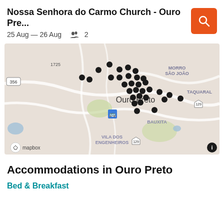Nossa Senhora do Carmo Church - Ouro Pre...
25 Aug — 26 Aug   2
[Figure (map): Map of Ouro Preto, Brazil showing accommodation pins clustered around the city center. Map labels include: 356, 1725, MORRO SÃO JOÃO, TAQUARAL, Ouro Preto, 129, BAUXITA, VILA DOS ENGENHEIROS, mapbox credit, info icon. Numerous black dots indicating accommodations are clustered in the city center area.]
Accommodations in Ouro Preto
Bed & Breakfast